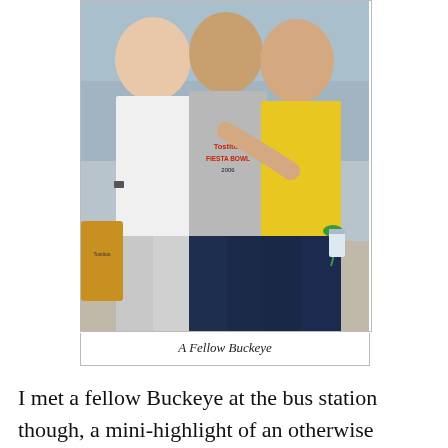[Figure (photo): Three young men posing together, one wearing a gray Tostitos Fiesta Bowl 2006 t-shirt, one in a yellow top, outdoor setting, possibly a market or bus station.]
A Fellow Buckeye
I met a fellow Buckeye at the bus station though, a mini-highlight of an otherwise not so great couple of days! Well, he wasn't really a Buckeye. He just had the shirt, probably bought from a Ropa Americana store. When I asked if I could take a picture, he called his fellow vendors over for the picture. I didn't get them in the frame as I took the picture with my point-and-shoot.